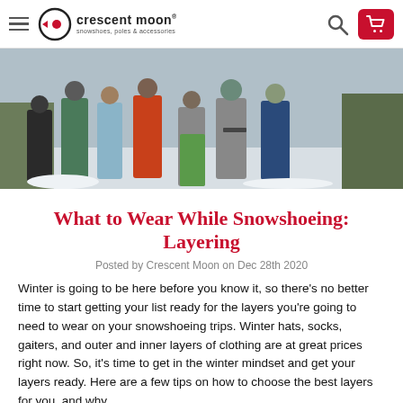Crescent Moon – snowshoes, poles & accessories
[Figure (photo): Group of people in winter clothing outdoors in a snowy setting, adjusting gear and preparing for snowshoeing.]
What to Wear While Snowshoeing: Layering
Posted by Crescent Moon on Dec 28th 2020
Winter is going to be here before you know it, so there's no better time to start getting your list ready for the layers you're going to need to wear on your snowshoeing trips. Winter hats, socks, gaiters, and outer and inner layers of clothing are at great prices right now. So, it's time to get in the winter mindset and get your layers ready. Here are a few tips on how to choose the best layers for you, and why